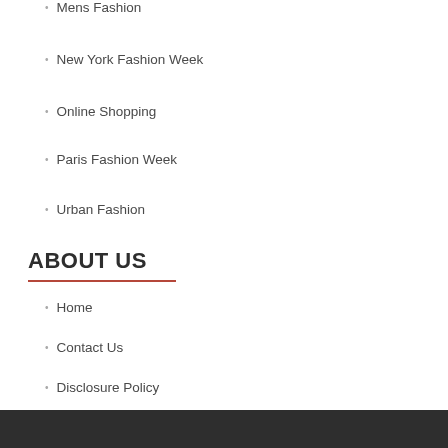Mens Fashion
New York Fashion Week
Online Shopping
Paris Fashion Week
Urban Fashion
ABOUT US
Home
Contact Us
Disclosure Policy
Sitemap